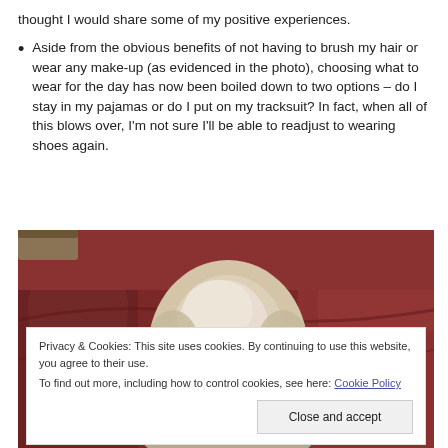thought I would share some of my positive experiences.
Aside from the obvious benefits of not having to brush my hair or wear any make-up (as evidenced in the photo), choosing what to wear for the day has now been boiled down to two options – do I stay in my pajamas or do I put on my tracksuit? In fact, when all of this blows over, I'm not sure I'll be able to readjust to wearing shoes again.
[Figure (photo): A photo of what appears to be a light-colored dog resting its head on a dark red/burgundy leather sofa or chair. The dog's face is partially visible, with a rounded head visible from above. Background shows burgundy leather furniture.]
Privacy & Cookies: This site uses cookies. By continuing to use this website, you agree to their use.
To find out more, including how to control cookies, see here: Cookie Policy
Close and accept